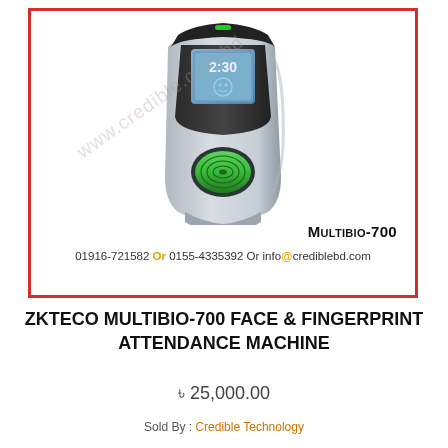[Figure (photo): ZKTeco MultiBio-700 face and fingerprint attendance machine device photo with model label 'MULTIBIO-700' and contact info '01916-721582 Or 0155-4335392 Or info@crediblebd.com', with watermark 'www.credible.com.bd', inside a red border box.]
ZKTECO MULTIBIO-700 FACE & FINGERPRINT ATTENDANCE MACHINE
৳ 25,000.00
Sold By : Credible Technology